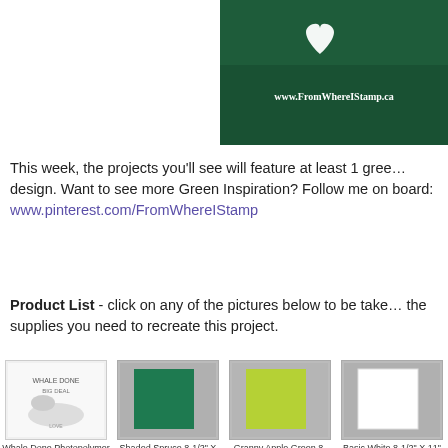[Figure (logo): Green branded banner with heart/leaf logo and URL www.FromWhereIStamp.ca on dark green background with foliage texture]
This week, the projects you'll see will feature at least 1 green design. Want to see more Green Inspiration? Follow me on board: www.pinterest.com/FromWhereIStamp
Product List - click on any of the pictures below to be taken the supplies you need to recreate this project.
[Figure (photo): Whale Done Photopolymer Stamp Set (English) product image showing ocean animal stamps]
[Figure (photo): Shaded Spruce 8-1/2 X 11 Cardstock [146981] product image showing dark green cardstock]
[Figure (photo): Granny Apple Green 8-1/2 X 11 Cardstock product image showing lime green cardstock]
[Figure (photo): Basic White 8-1/2 X 11 Cardstock [159276] product image]